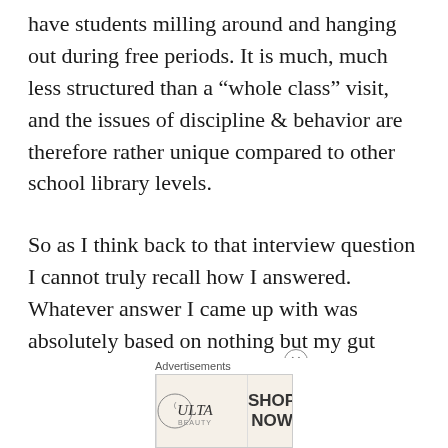have students milling around and hanging out during free periods. It is much, much less structured than a “whole class” visit, and the issues of discipline & behavior are therefore rather unique compared to other school library levels.
So as I think back to that interview question I cannot truly recall how I answered. Whatever answer I came up with was absolutely based on nothing but my gut instinct & theory, because,
[Figure (other): Ulta Beauty advertisement banner showing makeup images (lips, brush, eyes) with ULTA logo and SHOP NOW call to action]